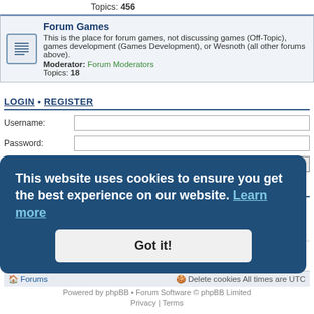Topics: 456
Forum Games
This is the place for forum games, not discussing games (Off-Topic), games development (Games Development), or Wesnoth (all other forums above).
Moderator: Forum Moderators
Topics: 18
LOGIN • REGISTER
Username:
Password:
I forgot my password
Remember me
WHO IS ONLINE
In total there are 57 users online :: 0 registered, 4 bots, 0 hidden and 53 guests (based on users active over the past 5 minutes)
Most users ever online was 1925 on June 2nd, 2021, 5:02 pm
Total posts 575258 • Total topics 49356 • Total members 130202 • Our newest member 44dali
Forums
Delete cookies  All times are UTC
Powered by phpBB • Forum Software © phpBB Limited
Privacy | Terms
This website uses cookies to ensure you get the best experience on our website. Learn more
Got it!